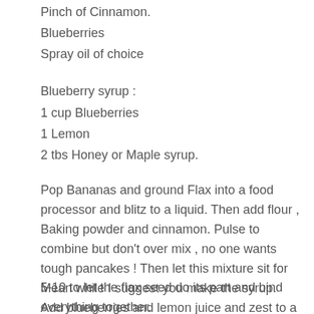Pinch of Cinnamon.
Blueberries
Spray oil of choice
Blueberry syrup :
1 cup Blueberries
1 Lemon
2 tbs Honey or Maple syrup.
Pop Bananas and ground Flax into a food processor and blitz to a liquid. Then add flour , Baking powder and cinnamon. Pulse to combine but don't over mix , no one wants tough pancakes !  Then let this mixture sit for 5-10 to let the flax seed do its part and bind everything together.
Mean while I suggest you make the syrup. Add blueberries and lemon juice and zest to a pan and bring to